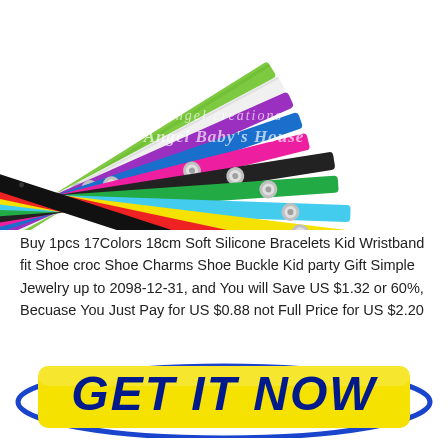[Figure (photo): Photo of multiple colorful silicone bracelets/wristbands fanned out, showing various colors including green, white, purple, blue, pink, black, red, yellow, light blue. Each bracelet has a metal snap button. Watermark text reads 'Angel creations' and 'Angel Baby's House' over the image.]
Buy 1pcs 17Colors 18cm Soft Silicone Bracelets Kid Wristband fit Shoe croc Shoe Charms Shoe Buckle Kid party Gift Simple Jewelry up to 2098-12-31, and You will Save US $1.32 or 60%, Becuase You Just Pay for US $0.88 not Full Price for US $2.20
[Figure (infographic): Yellow rectangular button with blue oval outline behind it, containing bold dark blue italic text 'GET IT NOW']